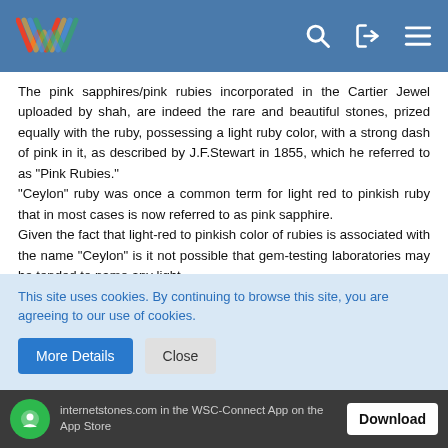WSC website header with logo and navigation icons
The pink sapphires/pink rubies incorporated in the Cartier Jewel uploaded by shah, are indeed the rare and beautiful stones, prized equally with the ruby, possessing a light ruby color, with a strong dash of pink in it, as described by J.F.Stewart in 1855, which he referred to as "Pink Rubies."
"Ceylon" ruby was once a common term for light red to pinkish ruby that in most cases is now referred to as pink sapphire.
Given the fact that light-red to pinkish color of rubies is associated with the name "Ceylon" is it not possible that gem-testing laboratories may be tended to name any light-
This site uses cookies. By continuing to browse this site, you are agreeing to our use of cookies.
More Details    Close
internetstones.com in the WSC-Connect App on the App Store    Download